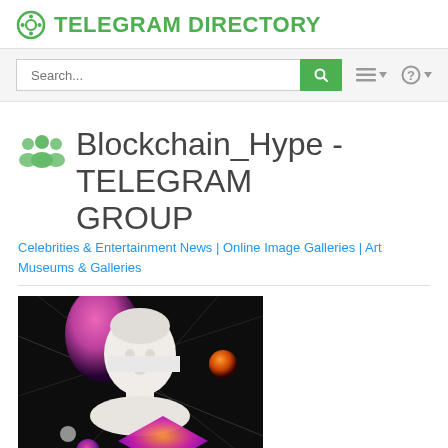TELEGRAM DIRECTORY
Blockchain_Hype - TELEGRAM GROUP
Celebrities & Entertainment News | Online Image Galleries | Art Museums & Galleries
[Figure (illustration): Vaporwave-style digital art showing a classical Greek/Roman marble bust with a glitch/censor bar across the face, surrounded by colorful geometric shapes (orange circle, pink/purple sphere, gradient diamond) and diagonal lines on a dark background.]
@Blockchain_Hype